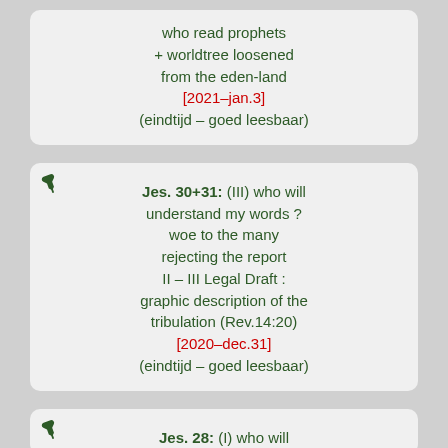who read prophets
+ worldtree loosened
from the eden-land
[2021–jan.3]
(eindtijd – goed leesbaar)
Jes. 30+31: (III) who will understand my words ? woe to the many rejecting the report II – III Legal Draft : graphic description of the tribulation (Rev.14:20)
[2020–dec.31]
(eindtijd – goed leesbaar)
Jes. 28: (I) who will